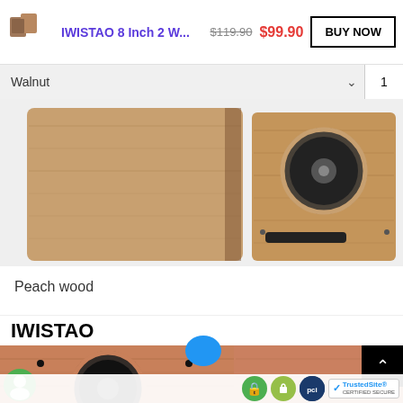[Figure (screenshot): Product thumbnail showing walnut speaker enclosures]
IWISTAO 8 Inch 2 W...
$119.90 $99.90
BUY NOW
Walnut
1
[Figure (photo): Two walnut-finish speaker enclosures photographed from the side, showing wood grain texture]
Peach wood
IWISTAO
[Figure (photo): Peach wood finish speaker enclosures showing driver opening and wood grain]
[Figure (logo): TrustedSite Certified Secure badge with lock, Shopify and PCI badges]